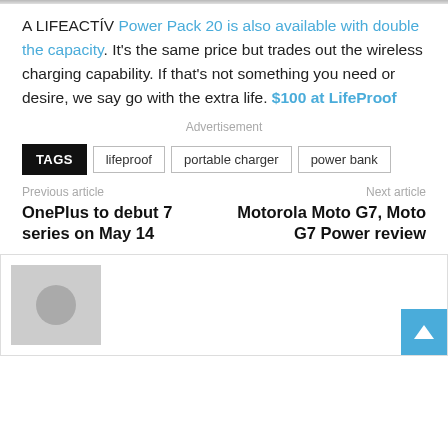[Figure (photo): Top cropped image strip (partial photo)]
A LIFEACTÍV Power Pack 20 is also available with double the capacity. It's the same price but trades out the wireless charging capability. If that's not something you need or desire, we say go with the extra life. $100 at LifeProof
Advertisement
TAGS  lifeproof  portable charger  power bank
Previous article
OnePlus to debut 7 series on May 14
Next article
Motorola Moto G7, Moto G7 Power review
[Figure (photo): Author avatar placeholder with grey background and circle]